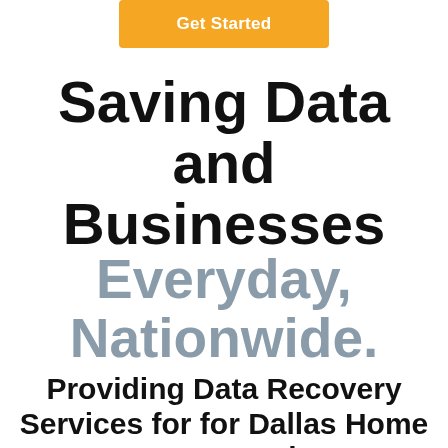[Figure (other): Orange 'Get Started' button at top center of page]
Saving Data and Businesses
Everyday, Nationwide.
Providing Data Recovery Services for for Dallas Home Users and